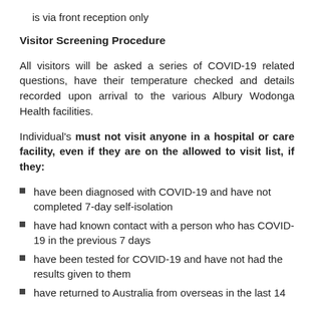is via front reception only
Visitor Screening Procedure
All visitors will be asked a series of COVID-19 related questions, have their temperature checked and details recorded upon arrival to the various Albury Wodonga Health facilities.
Individual's must not visit anyone in a hospital or care facility, even if they are on the allowed to visit list, if they:
have been diagnosed with COVID-19 and have not completed 7-day self-isolation
have had known contact with a person who has COVID-19 in the previous 7 days
have been tested for COVID-19 and have not had the results given to them
have returned to Australia from overseas in the last 14